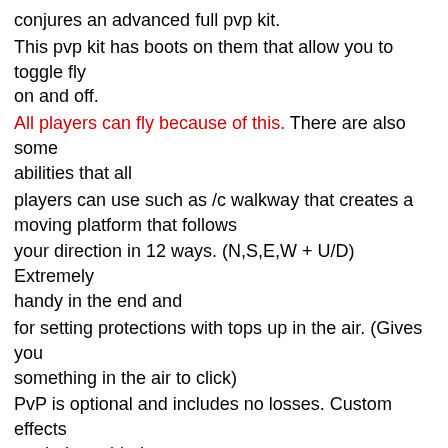conjures an advanced full pvp kit. This pvp kit has boots on them that allow you to toggle fly on and off. All players can fly because of this. There are also some abilities that all players can use such as /c walkway that creates a moving platform that follows your direction in 12 ways. (N,S,E,W + U/D) Extremely handy in the end and for setting protections with tops up in the air. (Gives you something in the air to click) PvP is optional and includes no losses. Custom effects are being added, one recently is... When a player kills a player the victim's head flies off at speed. (A spinning floating no gravity player named skull with random horizontal direction) The kill event causes blood splashes with bones, meat bits all up the victim and they may or may not see depending on speed etc their corpse flies up to space. After a few seconds the skull item is lootable thus